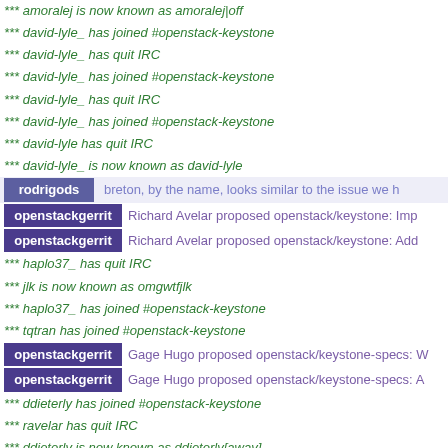*** amoralej is now known as amoralej|off
*** david-lyle_ has joined #openstack-keystone
*** david-lyle_ has quit IRC
*** david-lyle_ has joined #openstack-keystone
*** david-lyle_ has quit IRC
*** david-lyle_ has joined #openstack-keystone
*** david-lyle has quit IRC
*** david-lyle_ is now known as david-lyle
rodrigods   breton, by the name, looks similar to the issue we h
openstackgerrit   Richard Avelar proposed openstack/keystone: Imp
openstackgerrit   Richard Avelar proposed openstack/keystone: Add
*** haplo37_ has quit IRC
*** jlk is now known as omgwtfjlk
*** haplo37_ has joined #openstack-keystone
*** tqtran has joined #openstack-keystone
openstackgerrit   Gage Hugo proposed openstack/keystone-specs: W
openstackgerrit   Gage Hugo proposed openstack/keystone-specs: A
*** ddieterly has joined #openstack-keystone
*** ravelar has quit IRC
*** ddieterly is now known as ddieterly[away]
*** rvba has quit IRC
*** rvba has joined #openstack-keystone